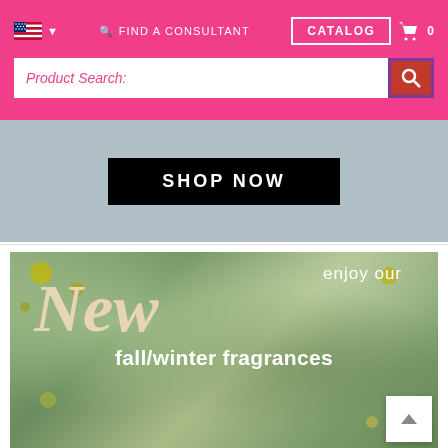US Flag | FIND A CONSULTANT | CATALOG | Cart 0
Product Search:
[Figure (screenshot): Shop Now button on a grey promotional banner background]
[Figure (photo): Fall/winter fragrances promotional banner with green nature background and text: enjoy our New fall/winter fragrances]